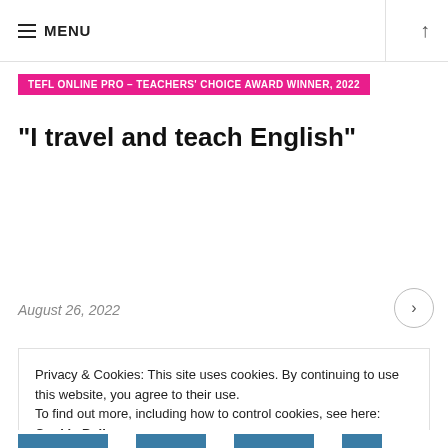≡ MENU
TEFL ONLINE PRO – TEACHERS' CHOICE AWARD WINNER, 2022
“I travel and teach English”
August 26, 2022
Privacy & Cookies: This site uses cookies. By continuing to use this website, you agree to their use. To find out more, including how to control cookies, see here: Cookie Policy
Close and accept